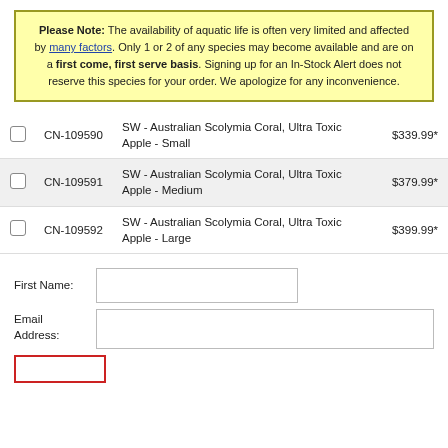Please Note: The availability of aquatic life is often very limited and affected by many factors. Only 1 or 2 of any species may become available and are on a first come, first serve basis. Signing up for an In-Stock Alert does not reserve this species for your order. We apologize for any inconvenience.
|  | SKU | Product Name | Price |
| --- | --- | --- | --- |
| ☐ | CN-109590 | SW - Australian Scolymia Coral, Ultra Toxic Apple - Small | $339.99* |
| ☐ | CN-109591 | SW - Australian Scolymia Coral, Ultra Toxic Apple - Medium | $379.99* |
| ☐ | CN-109592 | SW - Australian Scolymia Coral, Ultra Toxic Apple - Large | $399.99* |
First Name:
Email Address: